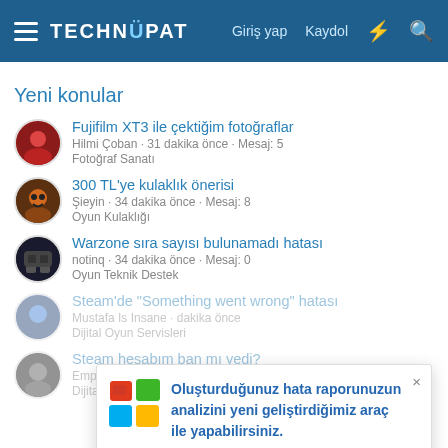TECHNOPAT — Giriş yap  Kaydol
Yeni konular
Fujifilm XT3 ile çektiğim fotoğraflar
Hilmi Çoban · 31 dakika önce · Mesaj: 5
Fotoğraf Sanatı
300 TL'ye kulaklık önerisi
Şieyin · 34 dakika önce · Mesaj: 8
Oyun Kulaklığı
Warzone sıra sayısı bulunamadı hatası
notinq · 34 dakika önce · Mesaj: 0
Oyun Teknik Destek
Steam'de "Something went wrong" hatası
Mustafa Is Insane · dakika önce
Dijital Oyun Servisleri
Steam hesabım ban mı yedi?
Emper · 37 dakika önce · Mesaj: 0
Dijital Oyun Servisleri
[Figure (screenshot): Popup notification with Windows logo icon and text: Oluşturduğunuz hata raporunuzun analizini yeni geliştirdiğimiz araç ile yapabilirsiniz.]